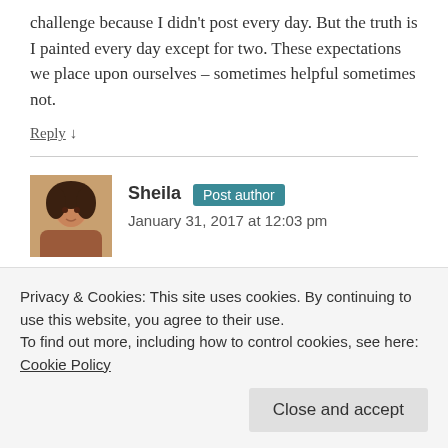challenge because I didn't post every day. But the truth is I painted every day except for two. These expectations we place upon ourselves – sometimes helpful sometimes not.
Reply ↓
Sheila Post author
January 31, 2017 at 12:03 pm
Thanks so much Jill. I am so looking forward to seeing your finished piece. I am in awe of how much work you ae…
Privacy & Cookies: This site uses cookies. By continuing to use this website, you agree to their use.
To find out more, including how to control cookies, see here: Cookie Policy